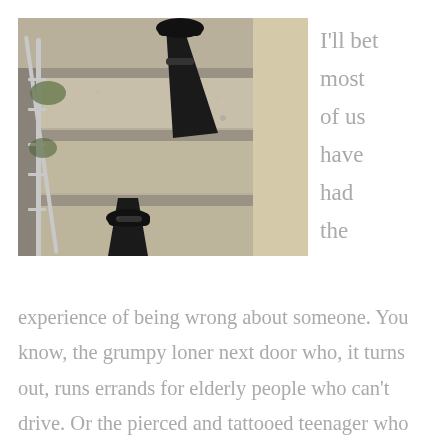[Figure (photo): A downward view of a person wearing black pants and black flat shoes standing on concrete/stone outdoor stairs with a metal railing visible on the left side.]
I'll bet most of us have had the experience of being wrong about someone. You know, the grumpy loner next door who, it turns out, runs errands for elderly people who can't drive. Or the pierced and tattooed teenager who seems rude on the surface, but who teaches younger children to read in an after-